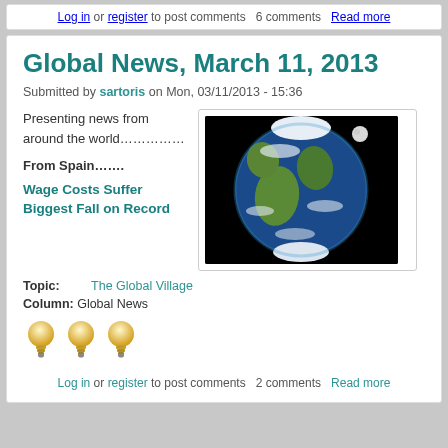Log in or register to post comments  6 comments  Read more
Global News, March 11, 2013
Submitted by sartoris on Mon, 03/11/2013 - 15:36
Presenting news from around the world……………
From Spain…….
Wage Costs Suffer Biggest Fall on Record
[Figure (photo): Photograph of Earth from space showing South America and Africa, black background]
Topic: The Global Village
Column: Global News
[Figure (illustration): Three yellow lightbulb icons in a row]
Log in or register to post comments  2 comments  Read more